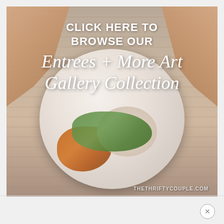[Figure (photo): Food photography showing hands cutting into a gourmet plate of food (asparagus, roasted potatoes, creamy sauce) on a rustic wooden background. Overlay text reads: CLICK HERE TO BROWSE OUR Entrees + More Art Gallery Collection. Watermark: THETHRIFTYCOUPLE.COM]
×